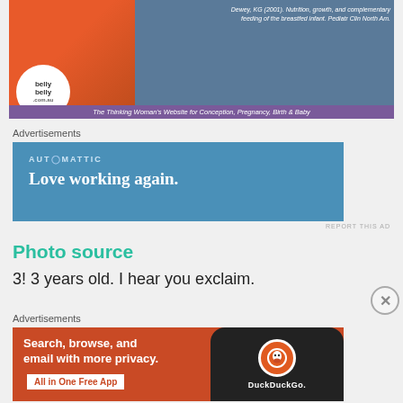[Figure (photo): BellyBelly.com.au banner ad showing a pregnant woman/baby image with the belly belly logo on the left side and text 'The Thinking Woman's Website for Conception, Pregnancy, Birth & Baby' along the bottom. Top right shows a citation text.]
Advertisements
[Figure (other): Automattic advertisement on blue background with text 'AUTOMATTIC' and 'Love working again.']
REPORT THIS AD
Photo source
3! 3 years old. I hear you exclaim.
Advertisements
[Figure (other): DuckDuckGo advertisement on orange/red background with text 'Search, browse, and email with more privacy.' and 'All in One Free App' button, with a DuckDuckGo app phone mockup on the right.]